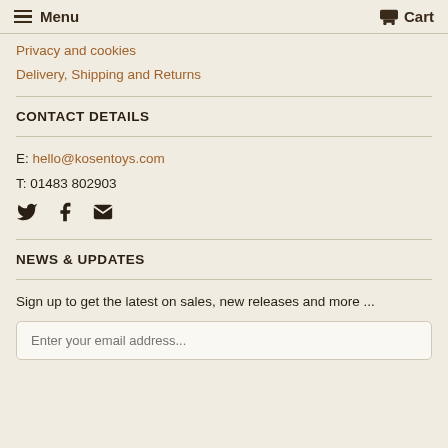Menu  Cart
Privacy and cookies
Delivery, Shipping and Returns
CONTACT DETAILS
E: hello@kosentoys.com
T: 01483 802903
[Figure (infographic): Social media icons: Twitter bird, Facebook f, Email envelope]
NEWS & UPDATES
Sign up to get the latest on sales, new releases and more ...
Enter your email address...